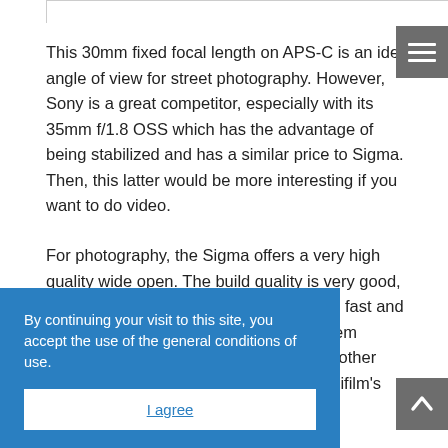This 30mm fixed focal length on APS-C is an ideal angle of view for street photography. However, Sony is a great competitor, especially with its 35mm f/1.8 OSS which has the advantage of being stabilized and has a similar price to Sigma. Then, this latter would be more interesting if you want to do video.
For photography, the Sigma offers a very high quality wide open. The build quality is very good, like the 16mm, and the autofocus is also fast and reliable. Although its weight and size seem reasonable, they are less so than many other lenses in the same category such as Fujifilm's 35mm f/1.4. A few flaws [continuing] vignetting and [corrected], but also a high [d] in photography but will [it] manages very well the
By continuing your visit to this site, you accept the use of the general conditions of use.
I agree